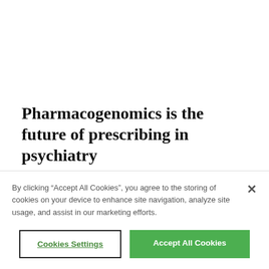Pharmacogenomics is the future of prescribing in psychiatry
By clicking “Accept All Cookies”, you agree to the storing of cookies on your device to enhance site navigation, analyze site usage, and assist in our marketing efforts.
Cookies Settings
Accept All Cookies